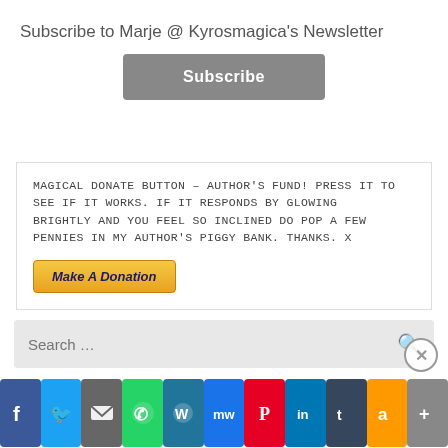Subscribe to Marje @ Kyrosmagica's Newsletter
[Figure (screenshot): Gray Subscribe button]
MAGICAL DONATE BUTTON – AUTHOR'S FUND! PRESS IT TO SEE IF IT WORKS. IF IT RESPONDS BY GLOWING BRIGHTLY AND YOU FEEL SO INCLINED DO POP A FEW PENNIES IN MY AUTHOR'S PIGGY BANK. THANKS. X
[Figure (screenshot): Make A Donation PayPal button (gold/yellow)]
[Figure (screenshot): Search bar with magnifying glass icon]
Advertisements
[Figure (screenshot): Advertisements row with purple banner and How to start selling text with orange leaf]
[Figure (infographic): Social share bar with icons: Facebook, Twitter, Mail, WhatsApp, WordPress, MeWe, Pinterest, LinkedIn, Tumblr, Amazon, More]